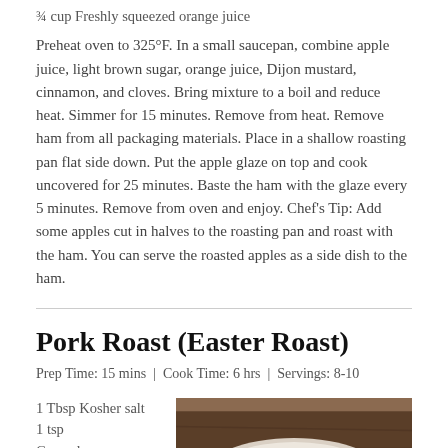¾ cup Freshly squeezed orange juice
Preheat oven to 325°F. In a small saucepan, combine apple juice, light brown sugar, orange juice, Dijon mustard, cinnamon, and cloves. Bring mixture to a boil and reduce heat. Simmer for 15 minutes. Remove from heat. Remove ham from all packaging materials. Place in a shallow roasting pan flat side down. Put the apple glaze on top and cook uncovered for 25 minutes. Baste the ham with the glaze every 5 minutes. Remove from oven and enjoy. Chef's Tip: Add some apples cut in halves to the roasting pan and roast with the ham. You can serve the roasted apples as a side dish to the ham.
Pork Roast (Easter Roast)
Prep Time: 15 mins | Cook Time: 6 hrs | Servings: 8-10
1 Tbsp Kosher salt
1 tsp Ground peppe
[Figure (photo): A plate of pork roast with vegetables and herbs on a wooden table]